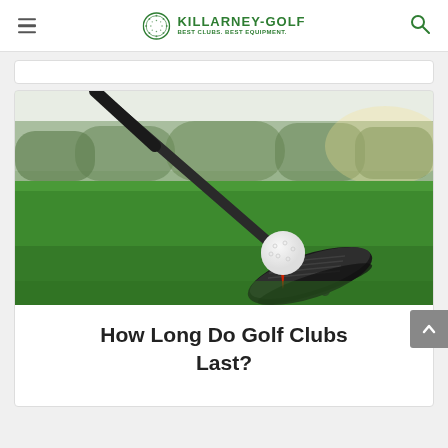KILLARNEY-GOLF — BEST CLUBS. BEST EQUIPMENT.
[Figure (photo): Golf iron club placed next to a golf ball on a red tee, set on a green golf course with blurred trees in the background]
How Long Do Golf Clubs Last?